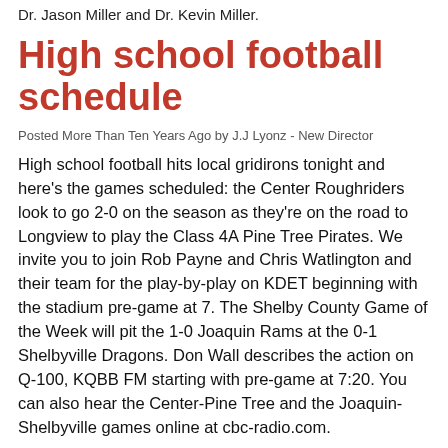Dr. Jason Miller and Dr. Kevin Miller.
High school football schedule
Posted More Than Ten Years Ago by J.J Lyonz - New Director
High school football hits local gridirons tonight and here's the games scheduled: the Center Roughriders look to go 2-0 on the season as they're on the road to Longview to play the Class 4A Pine Tree Pirates. We invite you to join Rob Payne and Chris Watlington and their team for the play-by-play on KDET beginning with the stadium pre-game at 7. The Shelby County Game of the Week will pit the 1-0 Joaquin Rams at the 0-1 Shelbyville Dragons. Don Wall describes the action on Q-100, KQBB FM starting with pre-game at 7:20. You can also hear the Center-Pine Tree and the Joaquin-Shelbyville games online at cbc-radio.com.